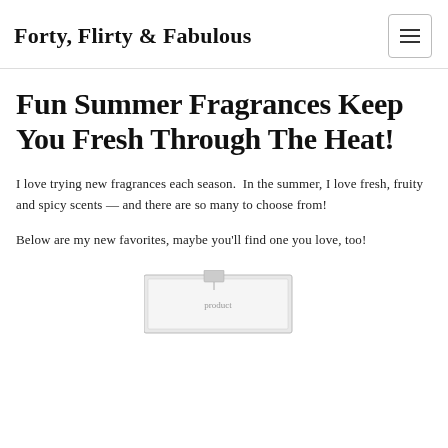Forty, Flirty & Fabulous
Fun Summer Fragrances Keep You Fresh Through The Heat!
I love trying new fragrances each season.  In the summer, I love fresh, fruity and spicy scents — and there are so many to choose from!
Below are my new favorites, maybe you'll find one you love, too!
[Figure (photo): Partial view of a fragrance product box at the bottom of the page]